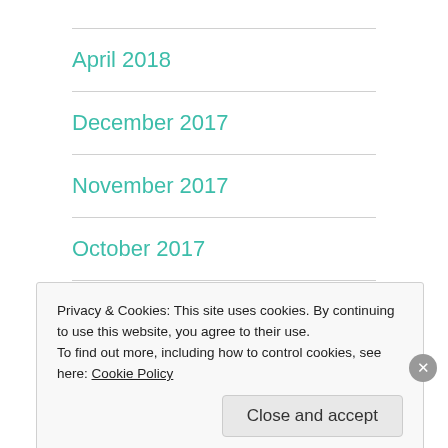April 2018
December 2017
November 2017
October 2017
September 2017
Privacy & Cookies: This site uses cookies. By continuing to use this website, you agree to their use.
To find out more, including how to control cookies, see here: Cookie Policy